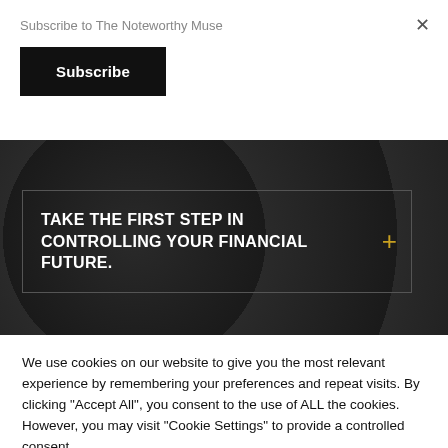Subscribe to The Noteworthy Muse
Subscribe
TAKE THE FIRST STEP IN CONTROLLING YOUR FINANCIAL FUTURE.
We use cookies on our website to give you the most relevant experience by remembering your preferences and repeat visits. By clicking "Accept All", you consent to the use of ALL the cookies. However, you may visit "Cookie Settings" to provide a controlled consent.
Cookie Settings
Accept All